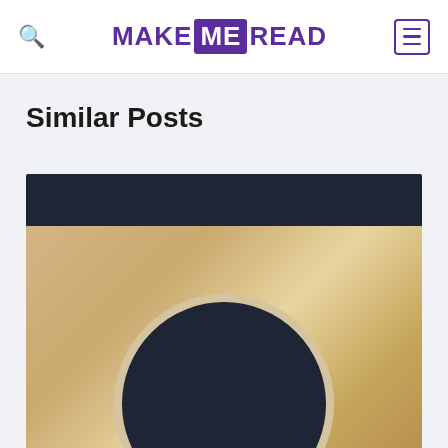MAKE ME READ
Similar Posts
[Figure (photo): Partial view of what appears to be a vinyl record or book cover with dark circular element on a warm golden/beige background, with a dark navy bar at the top]